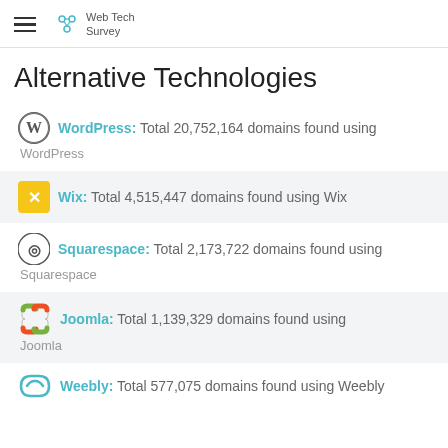Web Tech Survey
Alternative Technologies
WordPress: Total 20,752,164 domains found using WordPress
Wix: Total 4,515,447 domains found using Wix
Squarespace: Total 2,173,722 domains found using Squarespace
Joomla: Total 1,139,329 domains found using Joomla
Weebly: Total 577,075 domains found using Weebly